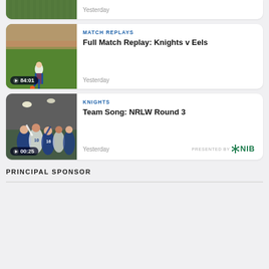[Figure (photo): Partial card at top showing a sports field thumbnail with 'Yesterday' label]
Yesterday
[Figure (photo): Video card thumbnail showing a rugby player in blue/red/white uniform mid-kick, with duration 84:01]
MATCH REPLAYS
Full Match Replay: Knights v Eels
Yesterday
[Figure (photo): Video card thumbnail showing players celebrating team song in a locker room, duration 00:25]
KNIGHTS
Team Song: NRLW Round 3
Yesterday
PRESENTED BY nib
PRINCIPAL SPONSOR